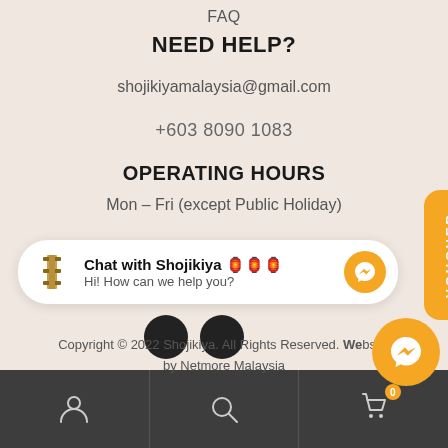FAQ
NEED HELP?
shojikiyamalaysia@gmail.com
+603 8090 1083
OPERATING HOURS
Mon – Fri (except Public Holiday)
[Figure (screenshot): Chat widget with Shojikiya logo, text 'Chat with Shojikiya' and 'Hi! How can we help you?', with messenger button]
[Figure (other): Orange vertical VOUCHER tab on right side]
Copyright © 2022 Shojikiya. All Rights Reserved. Website by Netmore Malaysia
Navigation bar with user, search, and cart (0) icons